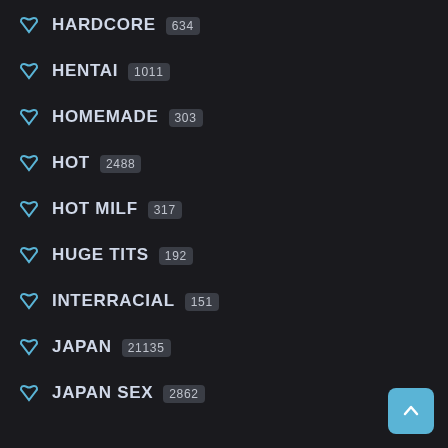HARDCORE 634
HENTAI 1011
HOMEMADE 303
HOT 2488
HOT MILF 317
HUGE TITS 192
INTERRACIAL 151
JAPAN 21135
JAPAN SEX 2862